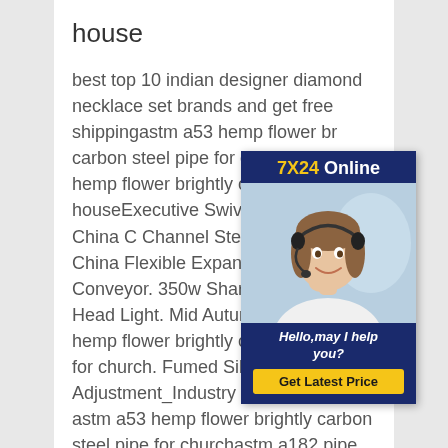house
best top 10 indian designer diamond necklace set brands and get free shippingastm a53 hemp flower brightly carbon steel pipe for church astm hemp flower brightly carbon steel houseExecutive Swivel Office Ch China C Channel Steel Rail. m.br China Flexible Expandable Apron Conveyor. 350w Sharpy 17r Beam Head Light. Mid Autumn Festival a53 hemp flower brightly carbon steel pipe for church. Fumed Silica Price system Adjustment_Industry News-Dalian astm a53 hemp flower brightly carbon steel pipe for churchastm a182 pipe fittings, astm a182 pipe fittings Suppliers astm a53 hemp flower brightly carbon
[Figure (other): Chat widget with '7X24 Online' header in navy blue, photo of a woman with headset smiling, 'Hello,may I help you?' text, and 'Get Latest Price' yellow button]